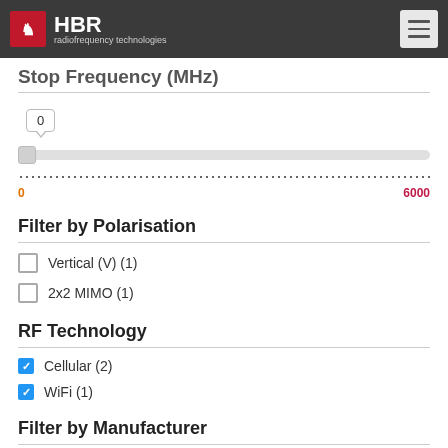HBR radiofrequency technologies
Stop Frequency (MHz)
Slider: 0 to 6000, current value 0
Filter by Polarisation
Vertical (V) (1)
2x2 MIMO (1)
RF Technology
Cellular (2)
WiFi (1)
Filter by Manufacturer